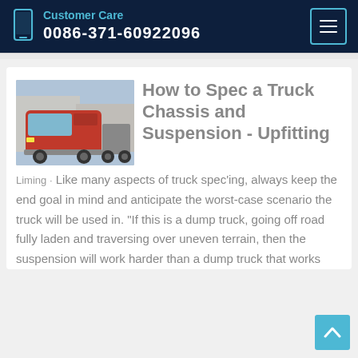Customer Care
0086-371-60922096
How to Spec a Truck Chassis and Suspension - Upfitting
Liming · Like many aspects of truck spec'ing, always keep the end goal in mind and anticipate the worst-case scenario the truck will be used in. "If this is a dump truck, going off road fully laden and traversing over uneven terrain, then the suspension will work harder than a dump truck that works
[Figure (photo): Red truck / tractor-trailer parked outdoors]